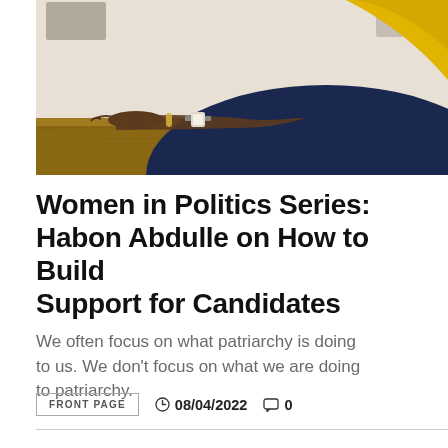[Figure (photo): Cropped photo of a woman in a navy blue top with a yellow garment visible on shoulder, wearing a bracelet and watch, seated at a wooden table. Only the torso and arms are visible.]
Women in Politics Series: Habon Abdulle on How to Build Support for Candidates
We often focus on what patriarchy is doing to us. We don't focus on what we are doing to patriarchy.
FRONT PAGE  08/04/2022  0